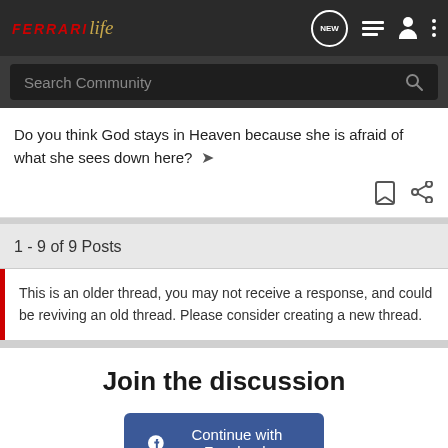[Figure (logo): Ferrari Life logo with FERRARI in red italic and 'life' in gold italic script]
[Figure (screenshot): Navigation bar icons: NEW message bubble, list icon, person icon, three dots menu]
Search Community
Do you think God stays in Heaven because she is afraid of what she sees down here?
1 - 9 of 9 Posts
This is an older thread, you may not receive a response, and could be reviving an old thread. Please consider creating a new thread.
Join the discussion
Continue with Facebook